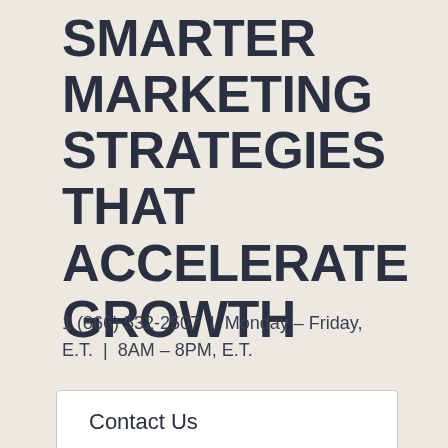SMARTER MARKETING STRATEGIES THAT ACCELERATE GROWTH
1 (866) 532-2507  |  Monday – Friday, E.T.  |  8AM – 8PM, E.T.
Contact Us
I'm Interested in